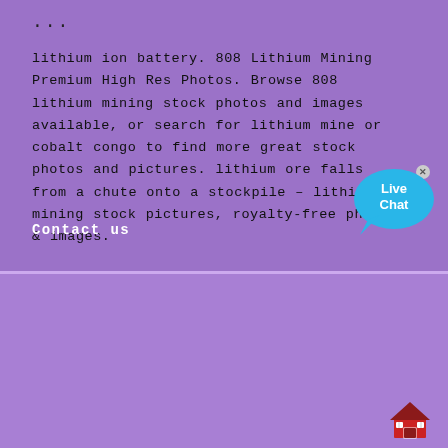...
lithium ion battery. 808 Lithium Mining Premium High Res Photos. Browse 808 lithium mining stock photos and images available, or search for lithium mine or cobalt congo to find more great stock photos and pictures. lithium ore falls from a chute onto a stockpile – lithium mining stock pictures, royalty-free photos & images.
Contact us
[Figure (photo): Live Chat bubble overlay on purple background]
[Figure (photo): Close-up photo of industrial mining equipment with red wheel, black cables, and AMC branding]